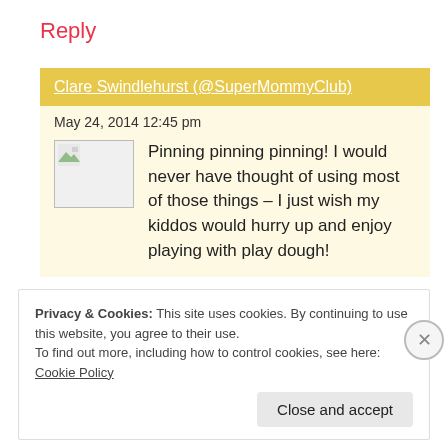Reply
Clare Swindlehurst (@SuperMommyClub)
May 24, 2014 12:45 pm
Pinning pinning pinning! I would never have thought of using most of those things – I just wish my kiddos would hurry up and enjoy playing with play dough!
Privacy & Cookies: This site uses cookies. By continuing to use this website, you agree to their use.
To find out more, including how to control cookies, see here: Cookie Policy
Close and accept